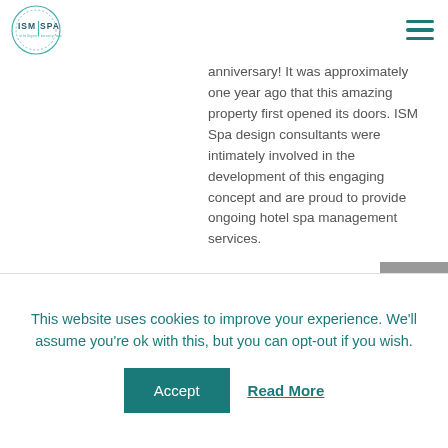ISM SPA
anniversary! It was approximately one year ago that this amazing property first opened its doors. ISM Spa design consultants were intimately involved in the development of this engaging concept and are proud to provide ongoing hotel spa management services.
This website uses cookies to improve your experience. We'll assume you're ok with this, but you can opt-out if you wish.
Accept   Read More